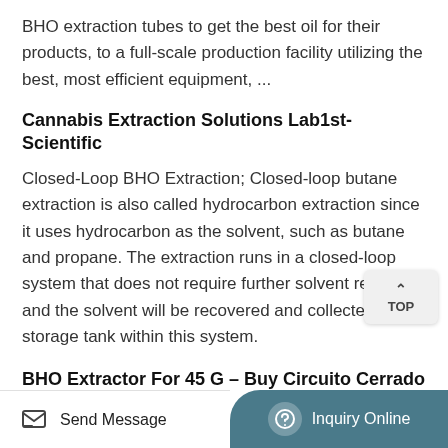BHO extraction tubes to get the best oil for their products, to a full-scale production facility utilizing the best, most efficient equipment, ...
Cannabis Extraction Solutions Lab1st-Scientific
Closed-Loop BHO Extraction; Closed-loop butane extraction is also called hydrocarbon extraction since it uses hydrocarbon as the solvent, such as butane and propane. The extraction runs in a closed-loop system that does not require further solvent recovery and the solvent will be recovered and collected in a storage tank within this system.
BHO Extractor For 45 G - Buy Circuito Cerrado Herborizer
Contents of the BHO extraction system for 45
Send Message  |  Inquiry Online